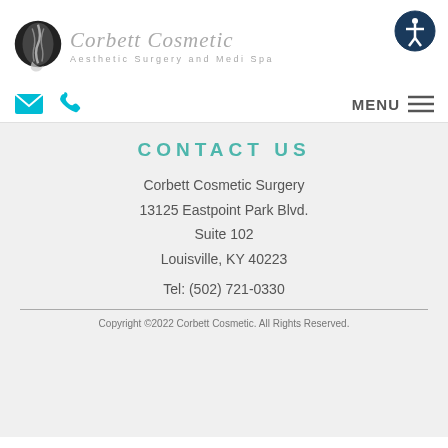[Figure (logo): Corbett Cosmetic Aesthetic Surgery and Medi Spa logo with circular icon showing a profile and script/cursive brand name text]
[Figure (other): Navigation bar with email icon (teal envelope), phone icon (teal handset), and MENU with hamburger lines on the right]
CONTACT US
Corbett Cosmetic Surgery
13125 Eastpoint Park Blvd.
Suite 102
Louisville, KY 40223
Tel: (502) 721-0330
Copyright ©2022 Corbett Cosmetic. All Rights Reserved.